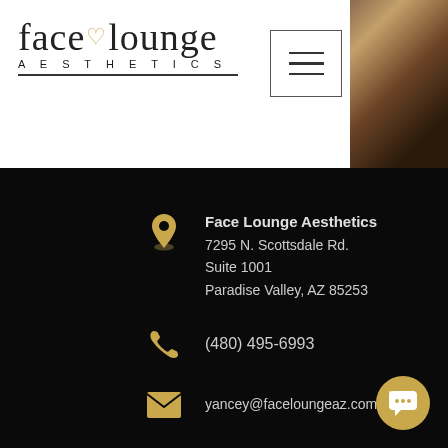[Figure (logo): Face Lounge Aesthetics logo - cursive script with heart symbol and AESTHETICS subtitle]
[Figure (other): Hamburger menu button (three horizontal lines) in bordered square]
[Figure (photo): Top-right corner photo of a scene, partially visible]
Face Lounge Aesthetics
7295 N. Scottsdale Rd.
Suite 1001
Paradise Valley, AZ 85253
(480) 495-6993
yancey@faceloungeaz.com